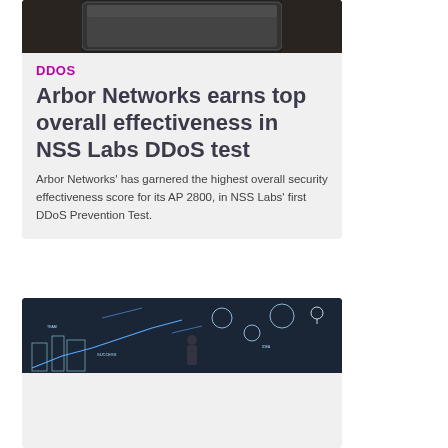[Figure (photo): Dark image showing what appears to be a tablet or electronic device on a dark leather surface]
DDOS
Arbor Networks earns top overall effectiveness in NSS Labs DDoS test
Arbor Networks' has garnered the highest overall security effectiveness score for its AP 2800, in NSS Labs' first DDoS Prevention Test.
[Figure (photo): Dark blue image showing a person standing in front of a wall covered with business and technology concept illustrations and doodles, with words like SUCCESS and IDEA visible]